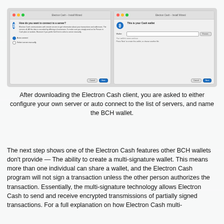[Figure (screenshot): Two side-by-side Electron Cash Install Wizard dialog windows on macOS. Left dialog: 'How do you want to connect to a server?' with text about server communication and radio buttons for 'Auto connect' (selected) and 'Select server manually'. Right dialog: 'This is your Cash wallet' with a Wallet field showing 'New wallet', a Choose button, and notes about creating the wallet. Both dialogs have Cancel and Next/Done buttons.]
After downloading the Electron Cash client, you are asked to either configure your own server or auto connect to the list of servers, and name the BCH wallet.
The next step shows one of the Electron Cash features other BCH wallets don't provide — The ability to create a multi-signature wallet. This means more than one individual can share a wallet, and the Electron Cash program will not sign a transaction unless the other person authorizes the transaction. Essentially, the multi-signature technology allows Electron Cash to send and receive encrypted transmissions of partially signed transactions. For a full explanation on how Electron Cash multi-